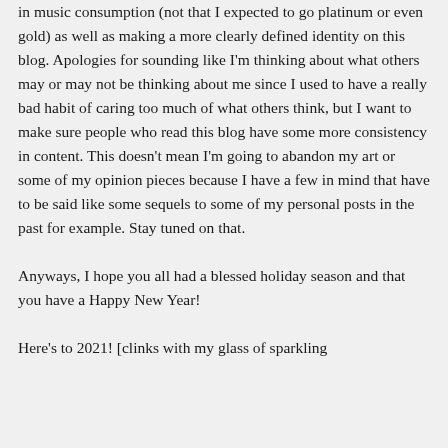in music consumption (not that I expected to go platinum or even gold) as well as making a more clearly defined identity on this blog. Apologies for sounding like I'm thinking about what others may or may not be thinking about me since I used to have a really bad habit of caring too much of what others think, but I want to make sure people who read this blog have some more consistency in content. This doesn't mean I'm going to abandon my art or some of my opinion pieces because I have a few in mind that have to be said like some sequels to some of my personal posts in the past for example. Stay tuned on that.
Anyways, I hope you all had a blessed holiday season and that you have a Happy New Year!
Here's to 2021! [clinks with my glass of sparkling